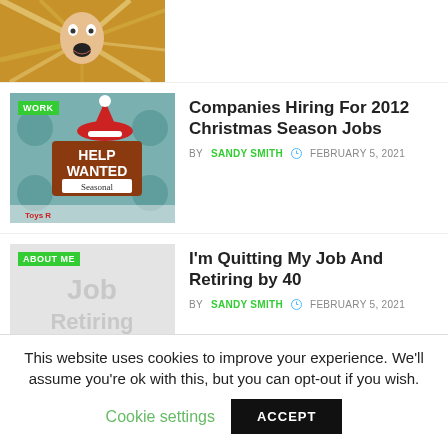[Figure (photo): Top partial image: person with shocked expression, papers flying]
[Figure (photo): Thumbnail with WORK badge, Help Wanted Seasonal sign with Santa hat, retail logos]
Companies Hiring For 2012 Christmas Season Jobs
BY SANDY SMITH  FEBRUARY 5, 2021
[Figure (photo): Thumbnail with ABOUT ME badge, light gray background with faded text]
I'm Quitting My Job And Retiring by 40
BY SANDY SMITH  FEBRUARY 5, 2021
This website uses cookies to improve your experience. We'll assume you're ok with this, but you can opt-out if you wish.
Cookie settings   ACCEPT